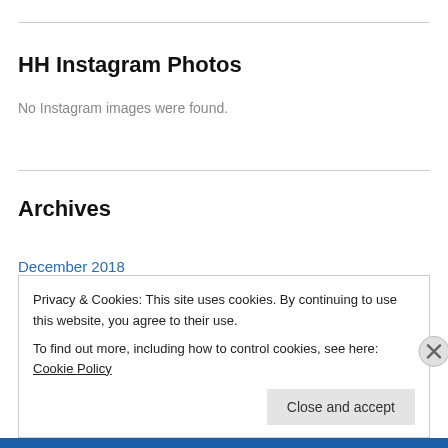HH Instagram Photos
No Instagram images were found.
Archives
December 2018
April 2018
March 2018
February 2017
Privacy & Cookies: This site uses cookies. By continuing to use this website, you agree to their use.
To find out more, including how to control cookies, see here: Cookie Policy
Close and accept